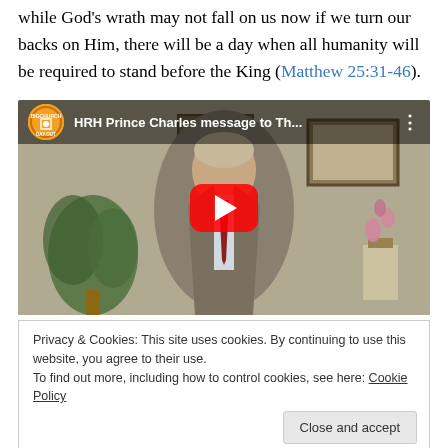while God's wrath may not fall on us now if we turn our backs on Him, there will be a day when all humanity will be required to stand before the King (Matthew 25:31-46).
[Figure (screenshot): YouTube video embed showing 'HRH Prince Charles message to Th...' from BigChurch Day Out channel, with a red play button overlay, showing Prince Charles in a suit in front of a beige background with plants]
Privacy & Cookies: This site uses cookies. By continuing to use this website, you agree to their use.
To find out more, including how to control cookies, see here: Cookie Policy